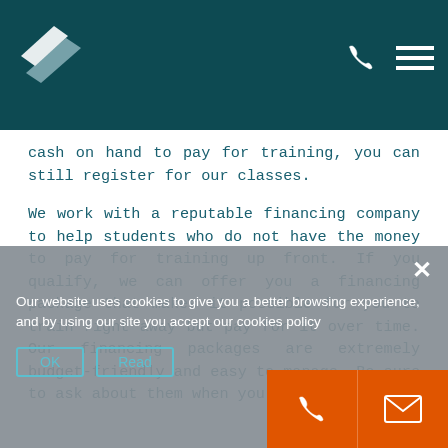[Logo and navigation header with phone and menu icons]
cash on hand to pay for training, you can still register for our classes.
We work with a reputable financing company to help students who do not have the money to pay for training up front. If you qualify, we can offer you a financing package that makes it possible for you to train right away but pay for it over time. Our financing packages are extremely budget-friendly and easy to manage. Be sure to ask about them when you contact us.
Our website uses cookies to give you a better browsing experience, and by using our site you accept our cookies policy